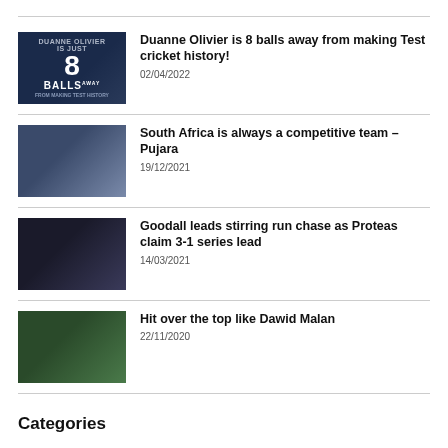Duanne Olivier is 8 balls away from making Test cricket history! 02/04/2022
South Africa is always a competitive team – Pujara 19/12/2021
Goodall leads stirring run chase as Proteas claim 3-1 series lead 14/03/2021
Hit over the top like Dawid Malan 22/11/2020
Categories